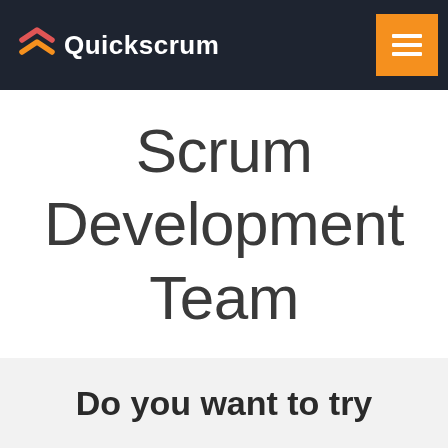Quickscrum
Scrum Development Team
Do you want to try